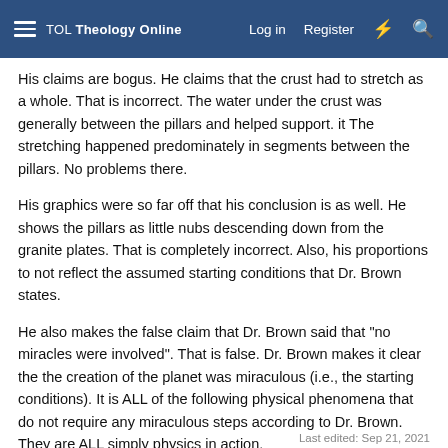TOL Theology Online  Log in  Register
His claims are bogus. He claims that the crust had to stretch as a whole. That is incorrect. The water under the crust was generally between the pillars and helped support. it The stretching happened predominately in segments between the pillars. No problems there.
His graphics were so far off that his conclusion is as well. He shows the pillars as little nubs descending down from the granite plates. That is completely incorrect. Also, his proportions to not reflect the assumed starting conditions that Dr. Brown states.
He also makes the false claim that Dr. Brown said that "no miracles were involved". That is false. Dr. Brown makes it clear the the creation of the planet was miraculous (i.e., the starting conditions). It is ALL of the following physical phenomena that do not require any miraculous steps according to Dr. Brown. They are ALL simply physics in action.
Last edited: Sep 21, 2021